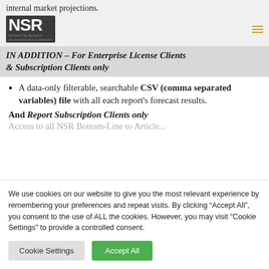internal market projections.
IN ADDITION – For Enterprise License Clients & Subscription Clients only
A data-only filterable, searchable CSV (comma separated variables) file with all each report's forecast results.
And Report Subscription Clients only
We use cookies on our website to give you the most relevant experience by remembering your preferences and repeat visits. By clicking “Accept All”, you consent to the use of ALL the cookies. However, you may visit "Cookie Settings" to provide a controlled consent.